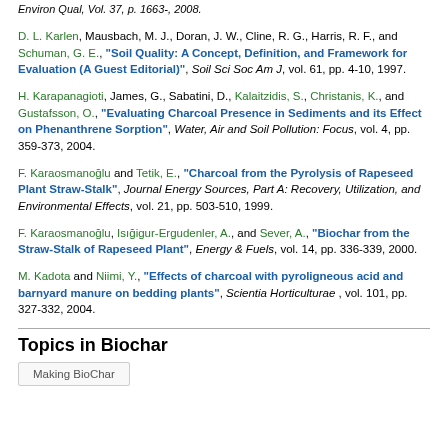Environ Qual, Vol. 37, p. 1663-, 2008.
D. L. Karlen, Mausbach, M. J., Doran, J. W., Cline, R. G., Harris, R. F., and Schuman, G. E., "Soil Quality: A Concept, Definition, and Framework for Evaluation (A Guest Editorial)", Soil Sci Soc Am J, vol. 61, pp. 4-10, 1997.
H. Karapanagioti, James, G., Sabatini, D., Kalaitzidis, S., Christanis, K., and Gustafsson, O., "Evaluating Charcoal Presence in Sediments and its Effect on Phenanthrene Sorption", Water, Air and Soil Pollution: Focus, vol. 4, pp. 359-373, 2004.
F. Karaosmanoğlu and Tetik, E., "Charcoal from the Pyrolysis of Rapeseed Plant Straw-Stalk", Journal Energy Sources, Part A: Recovery, Utilization, and Environmental Effects, vol. 21, pp. 503-510, 1999.
F. Karaosmanoğlu, Isığigur-Ergudenler, A., and Sever, A., "Biochar from the Straw-Stalk of Rapeseed Plant", Energy & Fuels, vol. 14, pp. 336-339, 2000.
M. Kadota and Niimi, Y., "Effects of charcoal with pyroligneous acid and barnyard manure on bedding plants", Scientia Horticulturae, vol. 101, pp. 327-332, 2004.
Topics in Biochar
Making BioChar